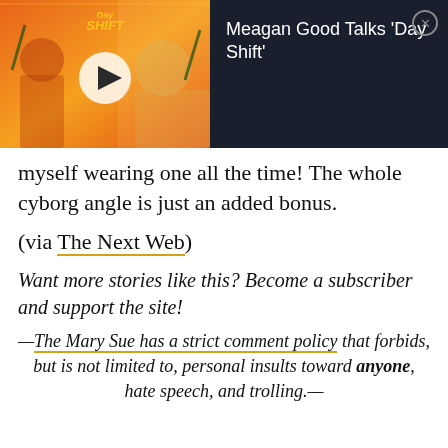[Figure (screenshot): Video player overlay showing 'Day Shift' promotional video thumbnail with two people visible, a play button in the center, and on the right side dark panel with text 'Meagan Good Talks Day Shift' and a close (X) button.]
myself wearing one all the time! The whole cyborg angle is just an added bonus.
(via The Next Web)
Want more stories like this? Become a subscriber and support the site!
—The Mary Sue has a strict comment policy that forbids, but is not limited to, personal insults toward anyone, hate speech, and trolling.—